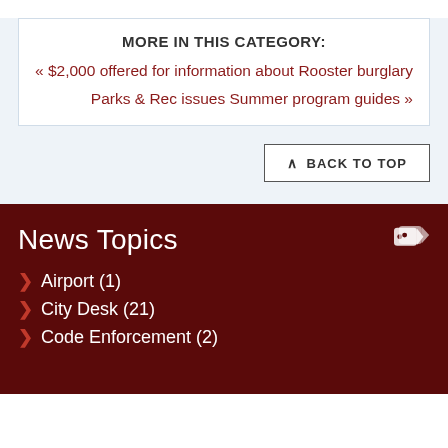MORE IN THIS CATEGORY:
« $2,000 offered for information about Rooster burglary
Parks & Rec issues Summer program guides »
BACK TO TOP
News Topics
> Airport (1)
> City Desk (21)
> Code Enforcement (2)